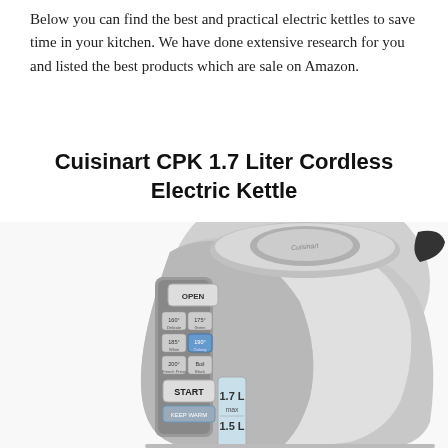Below you can find the best and practical electric kettles to save time in your kitchen. We have done extensive research for you and listed the best products which are sale on Amazon.
Cuisinart CPK 1.7 Liter Cordless Electric Kettle
[Figure (photo): Photo of a Cuisinart CPK 1.7 Liter Cordless Electric Kettle, stainless steel finish, showing control panel with temperature buttons (160°, 175°, 185°, 190°, 200°, Boil), OPEN button, START button, KEEP WARM button, and a water level window showing 1.7L max and 1.5L markings.]